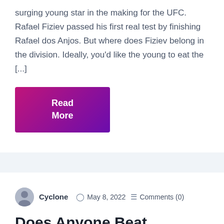surging young star in the making for the UFC. Rafael Fiziev passed his first real test by finishing Rafael dos Anjos. But where does Fiziev belong in the division. Ideally, you'd like the young to eat the [...]
Read More
Cyclone  May 8, 2022  Comments (0)
Does Anyone Beat Oliveira As Hot As He Is